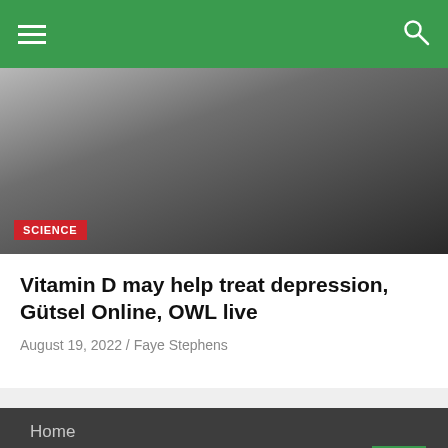Navigation bar with hamburger menu and search icon
[Figure (photo): Dark moody photo of a person in a dark coat, partially visible. Science category tag overlay in red.]
Vitamin D may help treat depression, Gütsel Online, OWL live
August 19, 2022 / Faye Stephens
Home
Top News
World
Economy
Science and Health
Technology